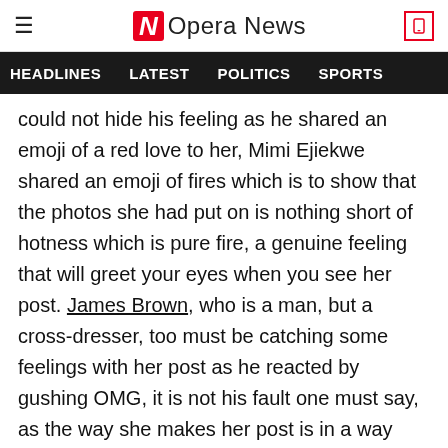Opera News
HEADLINES  LATEST  POLITICS  SPORTS
could not hide his feeling as he shared an emoji of a red love to her, Mimi Ejiekwe shared an emoji of fires which is to show that the photos she had put on is nothing short of hotness which is pure fire, a genuine feeling that will greet your eyes when you see her post. James Brown, who is a man, but a cross-dresser, too must be catching some feelings with her post as he reacted by gushing OMG, it is not his fault one must say, as the way she makes her post is in a way that is certain to make anyone who admires good things speechless.